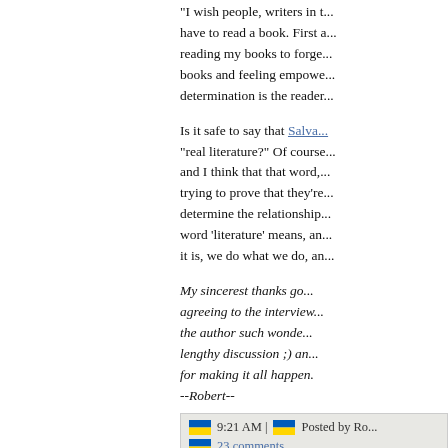"I wish people, writers in t... have to read a book. First a... reading my books to forge... books and feeling empowe... determination is the reader...
Is it safe to say that Salva... "real literature?" Of course... and I think that that word,... trying to prove that they're... determine the relationship... word 'literature' means, an... it is, we do what we do, an...
My sincerest thanks go... agreeing to the interview... the author such wonde... lengthy discussion ;) an... for making it all happen. --Robert--
9:21 AM | Posted by Ro...
23 comments
Newer Posts